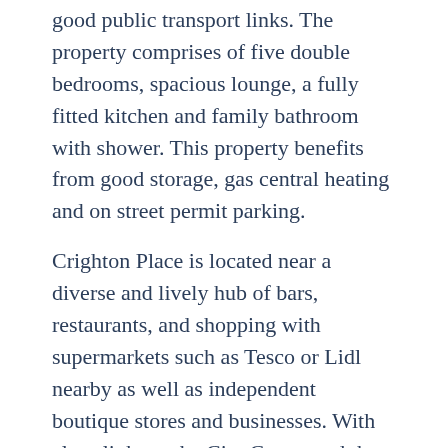good public transport links. The property comprises of five double bedrooms, spacious lounge, a fully fitted kitchen and family bathroom with shower. This property benefits from good storage, gas central heating and on street permit parking.
Crighton Place is located near a diverse and lively hub of bars, restaurants, and shopping with supermarkets such as Tesco or Lidl nearby as well as independent boutique stores and businesses. With close links to the City Centre and the vibrant Leith Shore area this property enjoys a prime location.
The city centre is easily reached via frequent bus links as well as the Airport via the Skylink 200 from Ocean Terminal shopping centre. Ocean Terminal is a short